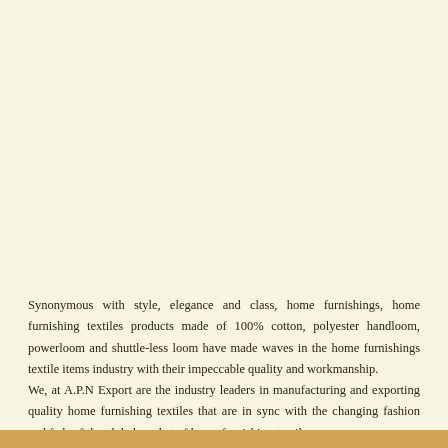Synonymous with style, elegance and class, home furnishings, home furnishing textiles products made of 100% cotton, polyester handloom, powerloom and shuttle-less loom have made waves in the home furnishings textile items industry with their impeccable quality and workmanship.
We, at A.P.N Export are the industry leaders in manufacturing and exporting quality home furnishing textiles that are in sync with the changing fashion and fads of the global market of home furnishing textiles.